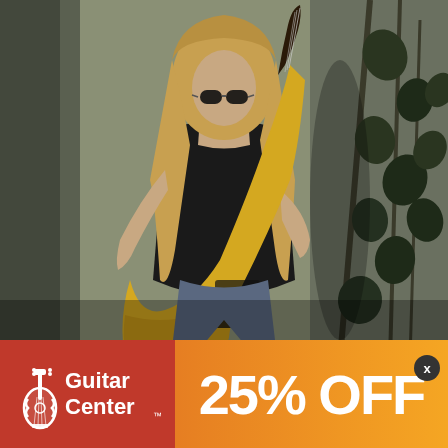[Figure (photo): A young woman with long blonde hair and sunglasses playing a yellow electric bass guitar, wearing a black top and denim shorts, standing in front of a wall with dark leafy vines/plants. The photo has a desaturated, moody tone.]
[Figure (logo): Guitar Center logo with guitar icon and text 'Guitar Center' in white on red background]
25% OFF